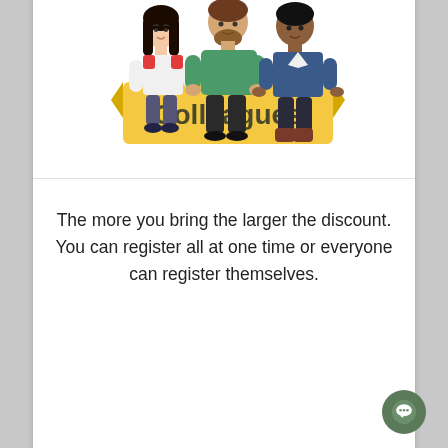[Figure (illustration): Cartoon illustration of three diverse colleagues (two women, one bearded man) standing behind and holding up a large yellow banner sign that reads 'Colleagues' in dark text.]
The more you bring the larger the discount. You can register all at one time or everyone can register themselves.